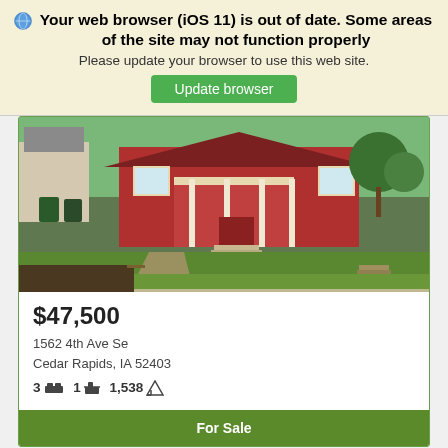Your web browser (iOS 11) is out of date. Some areas of the site may not function properly
Please update your browser to use this web site.
Update browser
[Figure (photo): Exterior photo of a red house with white trim, front porch, green lawn and driveway]
$47,500
1562 4th Ave Se
Cedar Rapids, IA 52403
3  1  1,538
For Sale
[Figure (photo): Partial view of a second property listing photo]